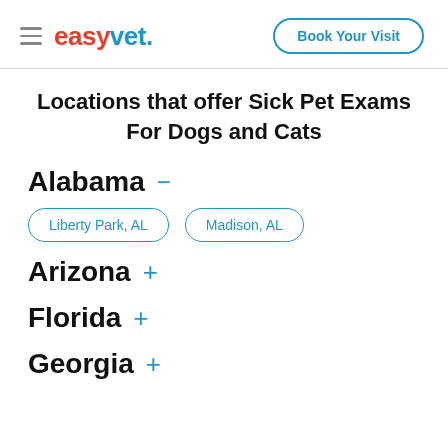easyvet. Book Your Visit
Locations that offer Sick Pet Exams For Dogs and Cats
Alabama −
Liberty Park, AL
Madison, AL
Arizona +
Florida +
Georgia +